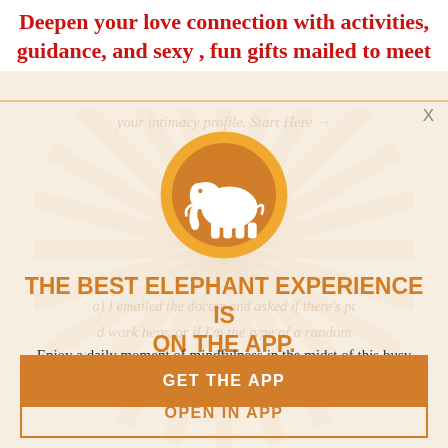Deepen your love connection with activities, guidance, and sexy , fun gifts mailed to meet
[Figure (illustration): Orange circular logo with white elephant silhouette, surrounded by decorative rays on a cream/beige background]
THE BEST ELEPHANT EXPERIENCE IS ON THE APP.
Enjoy a daily moment of mindfulness in the midst of this busy life. It's free.
GET THE APP
OPEN IN APP